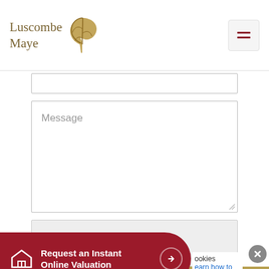Luscombe Maye
[Figure (illustration): Luscombe Maye logo with oak leaf and text]
Message
SEND
OR CALL US: YEALMPTON
Request an Instant Online Valuation
ookies
earn how to disable them.